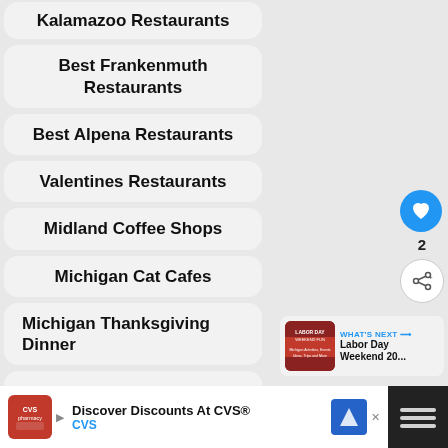Kalamazoo Restaurants
Best Frankenmuth Restaurants
Best Alpena Restaurants
Valentines Restaurants
Midland Coffee Shops
Michigan Cat Cafes
Michigan Thanksgiving Dinner
Michigan Diners, Drive In's and Drives
De...
[Figure (other): Heart/like button (blue circle with heart icon), count 2, and share button]
[Figure (other): What's Next panel: thumbnail for Labor Day Weekend 20...]
[Figure (other): CVS advertisement banner: Discover Discounts At CVS® CVS]